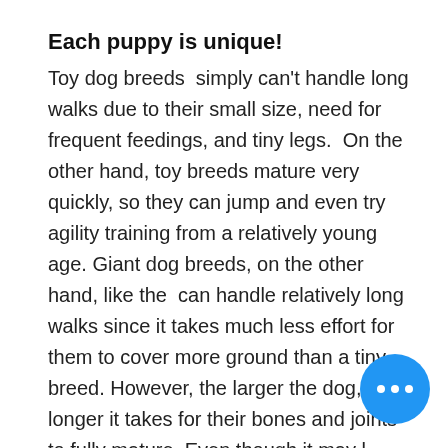Each puppy is unique!
Toy dog breeds  simply can't handle long walks due to their small size, need for frequent feedings, and tiny legs.  On the other hand, toy breeds mature very quickly, so they can jump and even try agility training from a relatively young age. Giant dog breeds, on the other hand, like the  can handle relatively long walks since it takes much less effort for them to cover more ground than a tiny breed. However, the larger the dog, the longer it takes for their bones and joints to fully mature. Even though it may like your enormous six-month-old Mastiff can handle a day-long hike